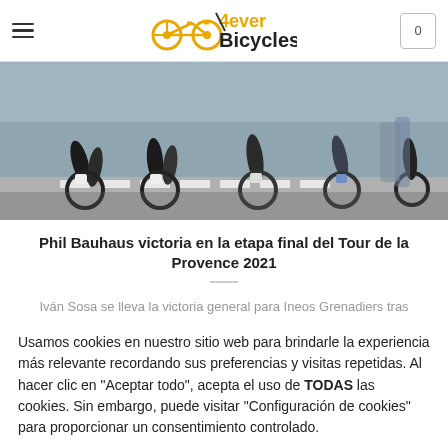4ever Bicycles — Navigation bar with hamburger menu and cart icon
[Figure (photo): Close-up photo of cyclists' legs and bicycles at a race event, shot from low angle showing wheels, legs and a striped road marking]
Phil Bauhaus victoria en la etapa final del Tour de la Provence 2021
Iván Sosa se lleva la victoria general para Ineos Grenadiers tras
Usamos cookies en nuestro sitio web para brindarle la experiencia más relevante recordando sus preferencias y visitas repetidas. Al hacer clic en "Aceptar todo", acepta el uso de TODAS las cookies. Sin embargo, puede visitar "Configuración de cookies" para proporcionar un consentimiento controlado.
Configuración de cookies
Aceptar todas